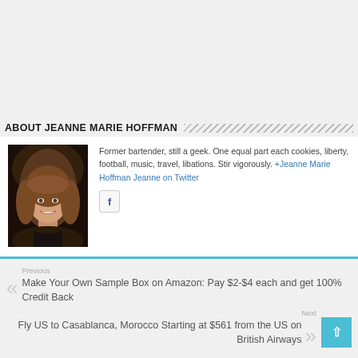ABOUT JEANNE MARIE HOFFMAN
[Figure (photo): Portrait photo of Jeanne Marie Hoffman, a woman with long brown hair, smiling]
Former bartender, still a geek. One equal part each cookies, liberty, football, music, travel, libations. Stir vigorously. +Jeanne Marie Hoffman Jeanne on Twitter
[Figure (logo): Facebook icon button (f)]
Previous
Make Your Own Sample Box on Amazon: Pay $2-$4 each and get 100% Credit Back
Next
Fly US to Casablanca, Morocco Starting at $561 from the US on British Airways